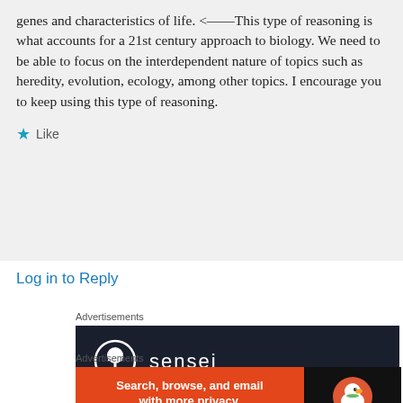genes and characteristics of life. <——This type of reasoning is what accounts for a 21st century approach to biology. We need to be able to focus on the interdependent nature of topics such as heredity, evolution, ecology, among other topics. I encourage you to keep using this type of reasoning.
★ Like
Log in to Reply
Advertisements
[Figure (logo): Sensei advertisement banner with dark background, circular tree icon and 'sensei' text in white]
Advertisements
[Figure (infographic): DuckDuckGo advertisement: orange left panel with 'Search, browse, and email with more privacy. All in One Free App' and dark right panel with DuckDuckGo duck logo]